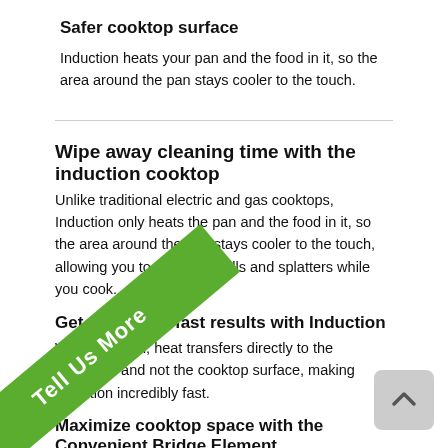Safer cooktop surface
Induction heats your pan and the food in it, so the area around the pan stays cooler to the touch.
Wipe away cleaning time with the induction cooktop
Unlike traditional electric and gas cooktops, Induction only heats the pan and the food in it, so the area around the pan stays cooler to the touch, allowing you to clean up spills and splatters while you cook.
Get amazingly fast results with Induction
With induction, heat transfers directly to the cookware and not the cooktop surface, making induction incredibly fast.
Maximize cooktop space with the Convenient Bridge Element
Connect elements to create a larger cooking surface, perfect for griddles and pans.
[Figure (other): Green diagonal ribbon banner with text 'Tell Us More']
[Figure (other): Scroll-to-top button, grey rounded rectangle with upward chevron arrow]